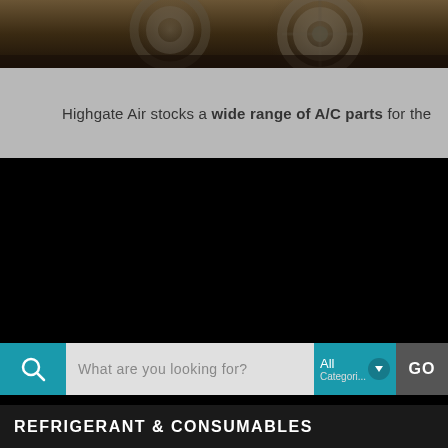[Figure (photo): Dark sepia-toned photo of mechanical parts, likely wheels or engine components, at the top of the page]
Highgate Air stocks a wide range of A/C parts for the
[Figure (screenshot): Black navigation/header block of a website]
[Figure (screenshot): Search bar with teal search icon, placeholder text 'What are you looking for?', a dropdown showing 'All Categories', and a GO button]
REFRIGERANT & CONSUMABLES